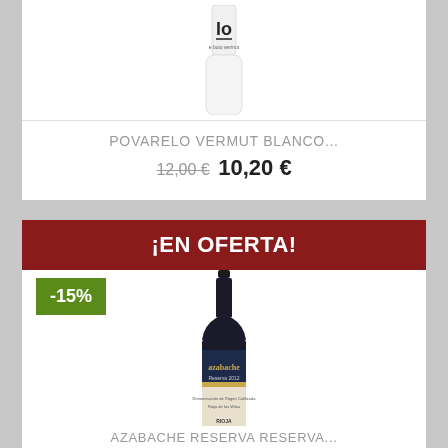[Figure (photo): White bottle of Povarelo Vermut Blanco product, top portion visible]
POVARELO VERMUT BLANCO...
12,00 € 10,20 €
¡EN OFERTA!
-15%
[Figure (photo): Red wine bottle with Azabache Reserva 2012 label, Rioja]
AZABACHE RESERVA RESERVA...